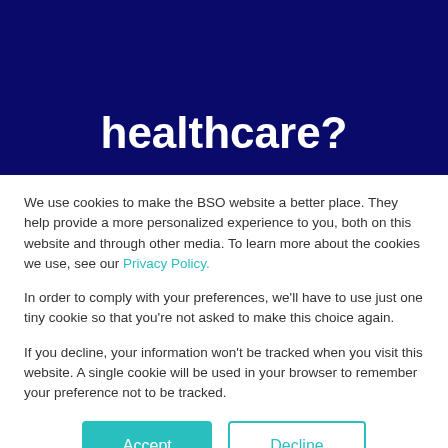healthcare?
We use cookies to make the BSO website a better place. They help provide a more personalized experience to you, both on this website and through other media. To learn more about the cookies we use, see our Privacy Policy.
In order to comply with your preferences, we'll have to use just one tiny cookie so that you're not asked to make this choice again.
If you decline, your information won't be tracked when you visit this website. A single cookie will be used in your browser to remember your preference not to be tracked.
Accept | Decline